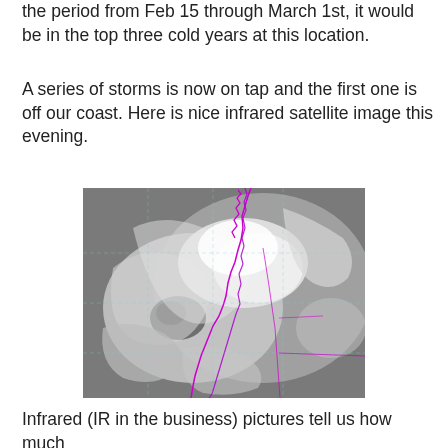the period from Feb 15 through March 1st, it would be in the top three cold years at this location.
A series of storms is now on tap and the first one is off our coast. Here is nice infrared satellite image this evening.
[Figure (photo): Infrared satellite image showing a storm system off the coast with swirling cloud patterns. Purple lines overlaid show state/country boundaries along the western US coast. The clouds appear white and gray against a dark gray ocean/land background.]
Infrared (IR in the business) pictures tell us how much